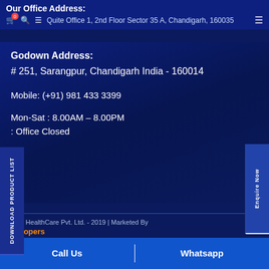Our Office Address: Quite Office 1, 2nd Floor Sector 35 A, Chandigarh, 160035
Godown Address:
# 251, Sarangpur, Chandigarh India - 160014
Mobile: (+91) 981 433 3399
Mon-Sat : 8.00AM – 8.00PM
: Office Closed
DOWNLOAD PRODUCT LIST
Enquire Now
or HealthCare Pvt. Ltd. - 2019 | Marketed By Hopers
Call Us | Whatsapp